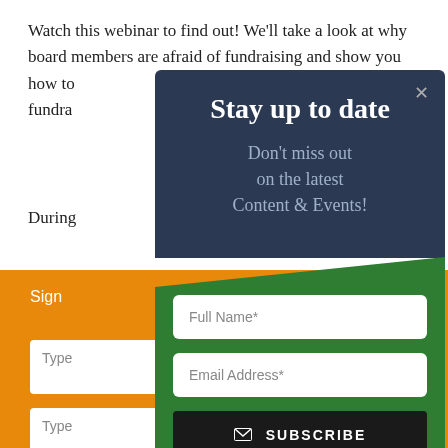Watch this webinar to find out! We'll take a look at why board members are afraid of fundraising and show you how to fundraisr
During
Sign ... ve
Type
Type
Stay up to date
Don't miss out on the latest Content & Events!
Full Name*
Email Address*
✉ SUBSCRIBE